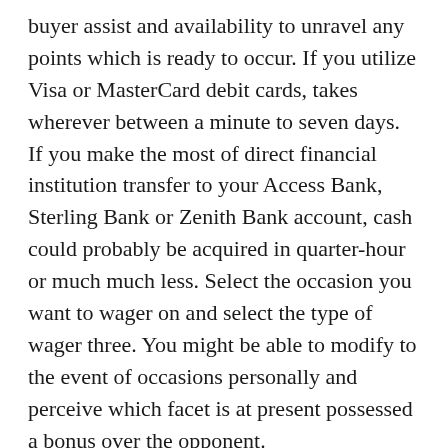buyer assist and availability to unravel any points which is ready to occur. If you utilize Visa or MasterCard debit cards, takes wherever between a minute to seven days. If you make the most of direct financial institution transfer to your Access Bank, Sterling Bank or Zenith Bank account, cash could probably be acquired in quarter-hour or much much less. Select the occasion you want to wager on and select the type of wager three. You might be able to modify to the event of occasions personally and perceive which facet is at present possessed a bonus over the opponent.
It takes about 15 minutes to arrange the withdrawal should you use e-wallets. In case you don't have one, you would possibly be positive to seek out something appropriate for you. You can make a deposit or withdraw money the way you assume is convenient. The firm differs from comparable bookies by providing on line casino and stay casino.
In this case, you'll get this one third of the supplied Cash out